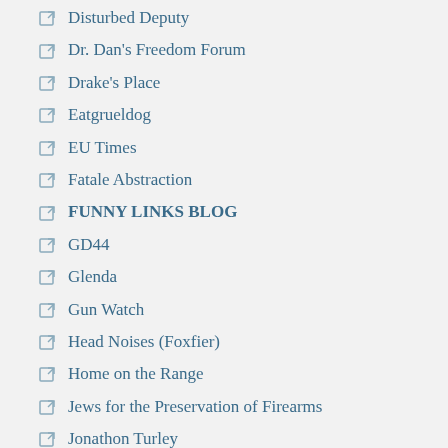Disturbed Deputy
Dr. Dan's Freedom Forum
Drake's Place
Eatgrueldog
EU Times
Fatale Abstraction
FUNNY LINKS BLOG
GD44
Glenda
Gun Watch
Head Noises (Foxfier)
Home on the Range
Jews for the Preservation of Firearms
Jonathon Turley